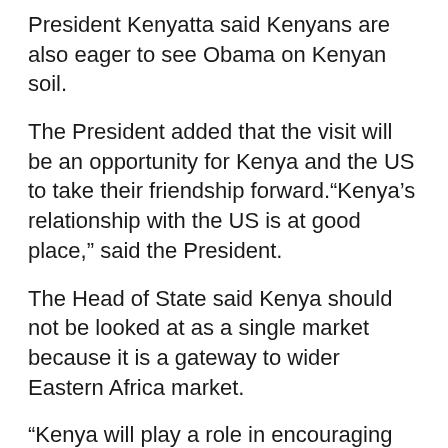President Kenyatta said Kenyans are also eager to see Obama on Kenyan soil.
The President added that the visit will be an opportunity for Kenya and the US to take their friendship forward.“Kenya’s relationship with the US is at good place,” said the President.
The Head of State said Kenya should not be looked at as a single market because it is a gateway to wider Eastern Africa market.
“Kenya will play a role in encouraging other countries in the region to partner with investors with good deals,” he said.
President Kenyatta and Foxx also spoke on the process to clear direct flights between the US and Kenya. Foxx said he hopes that the process will be concluded very soon.